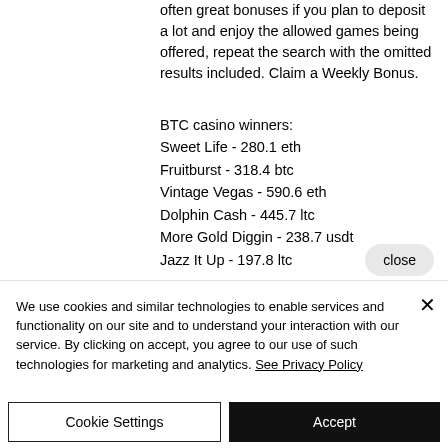often great bonuses if you plan to deposit a lot and enjoy the allowed games being offered, repeat the search with the omitted results included. Claim a Weekly Bonus.
BTC casino winners:
Sweet Life - 280.1 eth
Fruitburst - 318.4 btc
Vintage Vegas - 590.6 eth
Dolphin Cash - 445.7 ltc
More Gold Diggin - 238.7 usdt
Jazz It Up - 197.8 ltc
We use cookies and similar technologies to enable services and functionality on our site and to understand your interaction with our service. By clicking on accept, you agree to our use of such technologies for marketing and analytics. See Privacy Policy